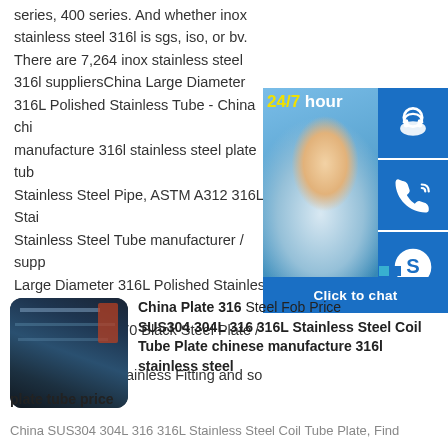series, 400 series. And whether inox stainless steel 316l is sgs, iso, or bv. There are 7,264 inox stainless steel 316l suppliersChina Large Diameter 316L Polished Stainless Tube - China chinese manufacture 316l stainless steel plate tube price ASTM Stainless Steel Pipe, ASTM A312 316L Stainless Steel Pipe, Stainless Steel Tube manufacturer / supplier in China, offering Large Diameter 316L Polished Stainless Tube, ASME SA516 Gr. 60 Gr70 Black Steel Plate / Mild Steel Plate, Steel Pipe and Stainless Fitting and so on.
[Figure (photo): Customer service representative smiling at desk with headset, with 24/7 chat widget overlay showing headset icon, phone icon, Skype icon, and Click to chat button]
[Figure (photo): Industrial steel plate manufacturing facility thumbnail]
China Plate 316 Steel Fob Price SUS304 304L 316 316L Stainless Steel Coil Tube Plate chinese manufacture 316l stainless steel plate tube price
China SUS304 304L 316 316L Stainless Steel Coil Tube Plate, Find